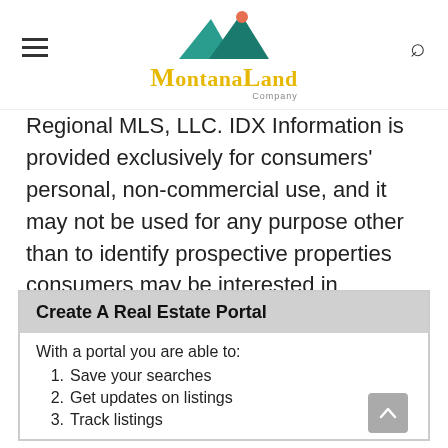Montana Land Company
Regional MLS, LLC. IDX Information is provided exclusively for consumers' personal, non-commercial use, and it may not be used for any purpose other than to identify prospective properties consumers may be interested in purchasing. The data is deemed reliable but is not guaranteed accurate by the MLS.
Create A Real Estate Portal
With a portal you are able to:
1. Save your searches
2. Get updates on listings
3. Track listings